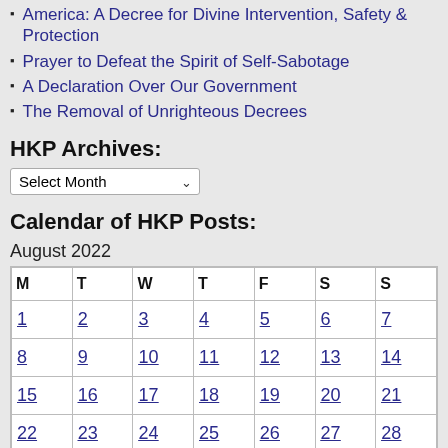America: A Decree for Divine Intervention, Safety & Protection
Prayer to Defeat the Spirit of Self-Sabotage
A Declaration Over Our Government
The Removal of Unrighteous Decrees
HKP Archives:
Select Month
Calendar of HKP Posts:
August 2022
| M | T | W | T | F | S | S |
| --- | --- | --- | --- | --- | --- | --- |
| 1 | 2 | 3 | 4 | 5 | 6 | 7 |
| 8 | 9 | 10 | 11 | 12 | 13 | 14 |
| 15 | 16 | 17 | 18 | 19 | 20 | 21 |
| 22 | 23 | 24 | 25 | 26 | 27 | 28 |
| 29 | 30 | 31 |  |  |  |  |